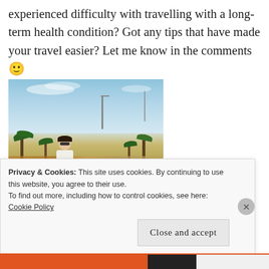experienced difficulty with travelling with a long-term health condition? Got any tips that have made your travel easier? Let me know in the comments 🙂
[Figure (photo): A woman in sunglasses wearing a white top and blue jeans standing in front of a waterfront plaza with palm trees and a blue sky]
Privacy & Cookies: This site uses cookies. By continuing to use this website, you agree to their use.
To find out more, including how to control cookies, see here: Cookie Policy
[Close and accept]